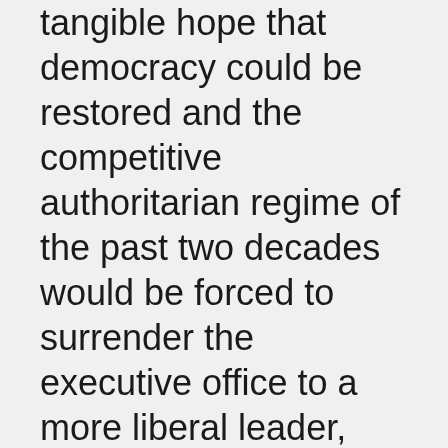tangible hope that democracy could be restored and the competitive authoritarian regime of the past two decades would be forced to surrender the executive office to a more liberal leader, allow competition within the legislative branch and end court-packing in the judiciary.
The Venezuelan democracy of the second half of the 20th century was stable, with competitive political parties and peaceful